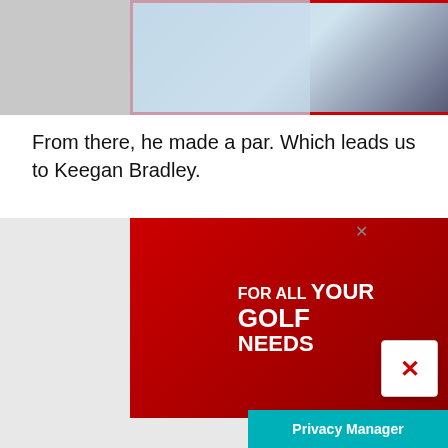[Figure (photo): Partial photo of two people at the top of the page, one in light blue and one in dark clothing, with a red border.]
From there, he made a par. Which leads us to Keegan Bradley.
Read more about what happened to Bradley here.
Bradley was playing the 16th hole in his second round. He marked his golf ball on the green but DID NOT lift and replace it and the ball was moved by a gust of wind.
[Figure (screenshot): GolfMagic YouTube advertisement banner with red left panel saying FOR ALL YOUR GOLF NEEDS and white right panel showing GolfMagic YouTube branding.]